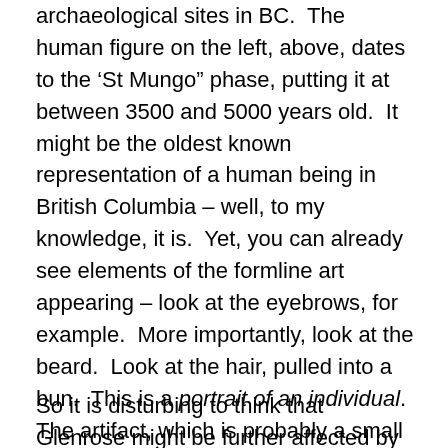archaeological sites in BC.  The human figure on the left, above, dates to the ‘St Mungo” phase, putting it at between 3500 and 5000 years old.  It might be the oldest known representation of a human being in British Columbia – well, to my knowledge, it is.  Yet, you can already see elements of the formline art appearing – look at the eyebrows, for example.  More importantly, look at the beard.  Look at the hair, pulled into a bun.  This is a portrait of an individual.  The artifact, which is probably a small handle for a chisel, is a masterpiece of Canadian art.  The site in which it was found shows continuous occupation from the present to about 9,000 years ago and spans up to eight metres of vertical deposits.
So it is disturbing to think that Glenrose might be further affected by development, in this case, road building